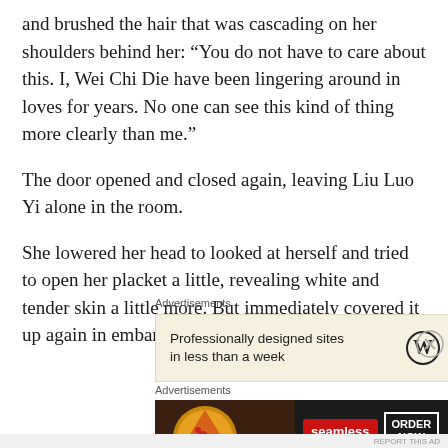and brushed the hair that was cascading on her shoulders behind her: “You do not have to care about this. I, Wei Chi Die have been lingering around in loves for years. No one can see this kind of thing more clearly than me.”
The door opened and closed again, leaving Liu Luo Yi alone in the room.
She lowered her head to looked at herself and tried to open her placket a little, revealing white and tender skin a little more. But immediately covered it up again in embarrassment.
Advertisements
[Figure (other): WordPress advertisement: Professionally designed sites in less than a week, with WordPress logo]
Advertisements
[Figure (other): Seamless food delivery advertisement with pizza image, Seamless logo in red, and ORDER NOW button]